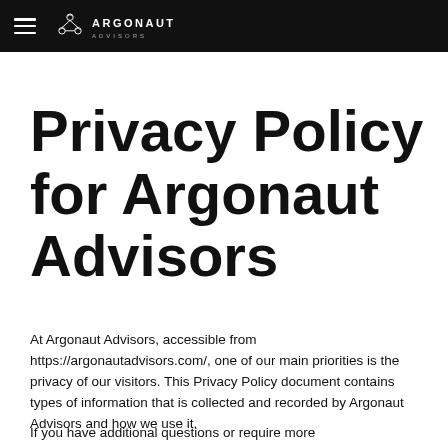ARGONAUT ADVISORS
Privacy Policy for Argonaut Advisors
At Argonaut Advisors, accessible from https://argonautadvisors.com/, one of our main priorities is the privacy of our visitors. This Privacy Policy document contains types of information that is collected and recorded by Argonaut Advisors and how we use it.
If you have additional questions or require more